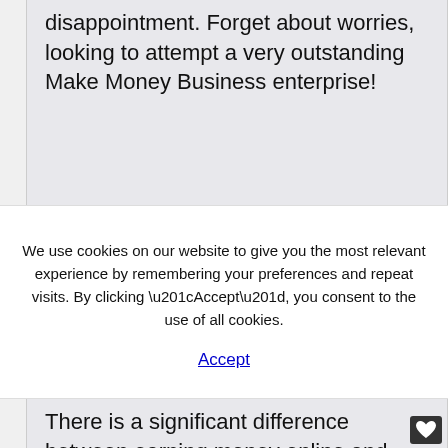disappointment. Forget about worries, looking to attempt a very outstanding Make Money Business enterprise!
We use cookies on our website to give you the most relevant experience by remembering your preferences and repeat visits. By clicking “Accept”, you consent to the use of all cookies.
Accept
There is a significant difference between earning money online and actually having and operating an online business. If you